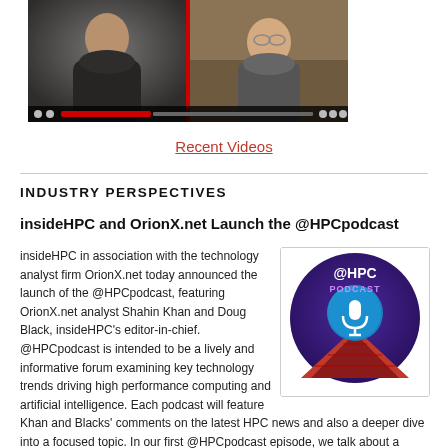[Figure (screenshot): Video thumbnail showing two men in a split-screen video call format with a playback bar at the bottom]
Recent Videos
INDUSTRY PERSPECTIVES
insideHPC and OrionX.net Launch the @HPCpodcast
[Figure (logo): @HPCpodcast logo — dark purple circular badge with @HPC in white text and PODCAST in purple, with a microphone icon on a blue circle and a red pyramid/stage below]
insideHPC in association with the technology analyst firm OrionX.net today announced the launch of the @HPCpodcast, featuring OrionX.net analyst Shahin Khan and Doug Black, insideHPC's editor-in-chief. @HPCpodcast is intended to be a lively and informative forum examining key technology trends driving high performance computing and artificial intelligence. Each podcast will feature Khan and Blacks' comments on the latest HPC news and also a deeper dive into a focused topic. In our first @HPCpodcast episode, we talk about a recent spate of good news for Intel before taking up one of the hottest areas of the advanced computing arena: new HPC-AI chips. You can find the @HPCpodcast on insideHPC and on Twitter. Here's the RSS feed: http://orionx.net/category/audio-podcast/feed We